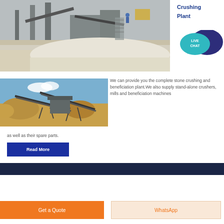[Figure (photo): Aerial view of a stone crushing plant facility with conveyor belts and industrial equipment]
Crushing Plant
[Figure (illustration): Live Chat speech bubble icon in teal and dark purple]
[Figure (photo): Stone crushing and beneficiation plant with conveyor belts and piles of crushed stone]
We can provide you the complete stone crushing and beneficiation plant.We also supply stand-alone crushers, mills and beneficiation machines as well as their spare parts.
Read More
Get a Quote
WhatsApp